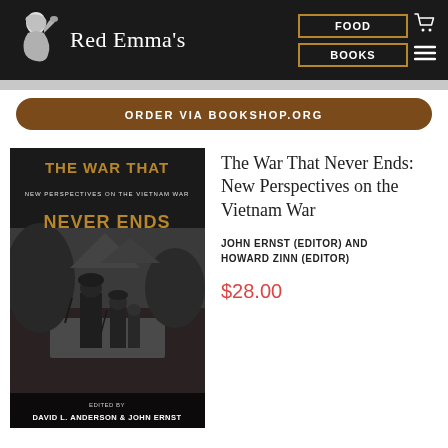Red Emma's | FOOD | BOOKS
ORDER VIA BOOKSHOP.ORG
[Figure (photo): Book cover of 'The War That Never Ends: New Perspectives on the Vietnam War', edited by David L. Anderson & John Ernst. Shows soldiers wading through water in Vietnam, black and white photo. Title text in gold/brown on cover.]
The War That Never Ends: New Perspectives on the Vietnam War
JOHN ERNST (EDITOR) AND HOWARD ZINN (EDITOR)
$28.00